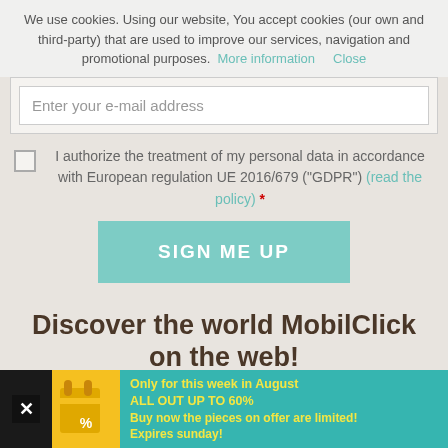We use cookies. Using our website, You accept cookies (our own and third-party) that are used to improve our services, navigation and promotional purposes. More information   Close
Enter your e-mail address
I authorize the treatment of my personal data in accordance with European regulation UE 2016/679 ("GDPR") (read the policy) *
SIGN ME UP
Discover the world MobilClick on the web!
Follow Us!
[Figure (other): Facebook and Twitter social media icon boxes]
[Figure (other): Advertisement banner: Only for this week in August ALL OUT UP TO 60% Buy now the pieces on offer are limited! Expires sunday!]